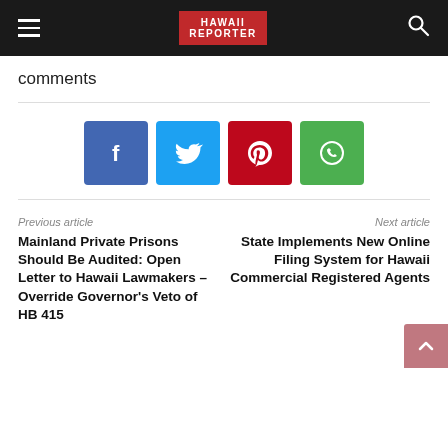HAWAII REPORTER
comments
[Figure (other): Social share buttons: Facebook, Twitter, Pinterest, WhatsApp]
Previous article
Mainland Private Prisons Should Be Audited: Open Letter to Hawaii Lawmakers – Override Governor's Veto of HB 415
Next article
State Implements New Online Filing System for Hawaii Commercial Registered Agents